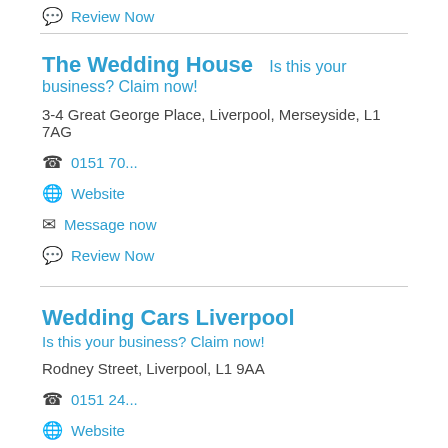Review Now
The Wedding House — Is this your business? Claim now!
3-4 Great George Place, Liverpool, Merseyside, L1 7AG
0151 70...
Website
Message now
Review Now
Wedding Cars Liverpool — Is this your business? Claim now!
Rodney Street, Liverpool, L1 9AA
0151 24...
Website